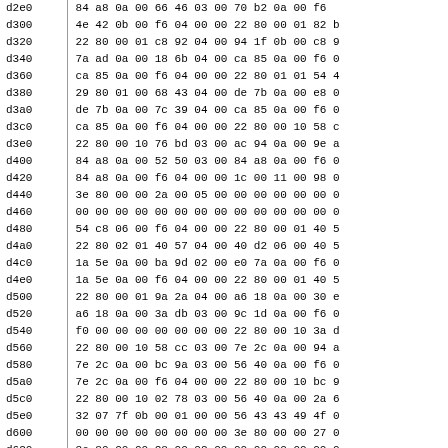| addr | bytes |
| --- | --- |
| d2e0 | 84 a8 0a 00 66 46 03 00 70 b2 0a 00 f6 |
| d300 | 4e 42 0b 00 f6 04 00 00 22 80 00 01 82 b |
| d320 | 22 80 00 01 c8 92 04 00 94 1f 0b 00 c8 9 |
| d340 | 7a ad 0a 00 18 6b 04 00 ca 85 0a 00 f6 0 |
| d360 | ca 85 0a 00 f6 04 00 00 22 80 01 01 54 4 |
| d380 | 29 80 01 00 68 43 04 00 de 7b 0a 00 e8 0 |
| d3a0 | de 7b 0a 00 7c 39 04 00 ca 85 0a 00 f6 0 |
| d3c0 | ca 85 0a 00 f6 04 00 00 22 80 00 10 58 c |
| d3e0 | 22 80 00 10 76 bd 03 00 ac 94 0a 00 9e a |
| d400 | 84 a8 0a 00 52 50 03 00 84 a8 0a 00 f6 0 |
| d420 | 84 a8 0a 00 f6 04 00 00 1c 00 11 00 98 0 |
| d440 | 3e 80 00 00 2a 00 05 00 00 00 00 00 00 0 |
| d460 | 00 00 00 00 00 00 00 00 00 00 00 00 00 0 |
| d480 | 54 c8 06 00 f6 04 00 00 22 80 00 01 40 5 |
| d4a0 | 22 80 02 01 40 57 04 00 40 d2 06 00 40 5 |
| d4c0 | 1a 5e 0a 00 ba 9d 02 00 e0 7a 0a 00 f6 0 |
| d4e0 | 1a 5e 0a 00 f6 04 00 00 22 80 00 01 40 5 |
| d500 | 22 80 00 01 9a 2a 04 00 a6 18 0a 00 30 e |
| d520 | a6 18 0a 00 3a db 03 00 9c 1d 0a 00 f6 0 |
| d540 | f0 00 00 00 00 00 00 00 22 80 00 10 3a d |
| d560 | 22 80 00 10 58 cc 03 00 7e 2c 0a 00 94 a |
| d580 | 7e 2c 0a 00 bc 9a 03 00 56 40 0a 00 f6 0 |
| d5a0 | 7e 2c 0a 00 f6 04 00 00 22 80 00 10 bc 9 |
| d5c0 | 22 80 00 10 02 78 03 00 56 40 0a 00 2a 6 |
| d5e0 | 32 07 7f 0b 00 01 00 00 56 43 43 49 4f 0 |
| d600 | 00 00 00 00 00 00 00 00 3e 80 00 00 27 0 |
| d620 | 3e 80 00 00 28 00 02 00 00 00 00 00 00 0 |
| d640 | 00 00 00 00 00 00 00 00 00 00 00 00 00 0 |
| d660 | 00 00 00 00 00 00 00 00 3e 80 00 00 2d 0 |
| d680 | 3e 80 00 00 2c 00 02 00 00 00 00 00 00 0 |